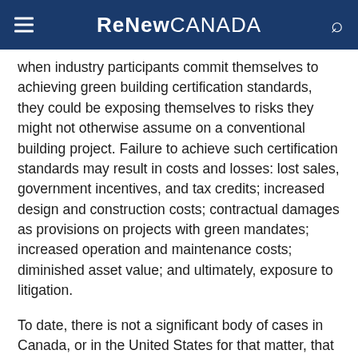ReNew CANADA
when industry participants commit themselves to achieving green building certification standards, they could be exposing themselves to risks they might not otherwise assume on a conventional building project. Failure to achieve such certification standards may result in costs and losses: lost sales, government incentives, and tax credits; increased design and construction costs; contractual damages as provisions on projects with green mandates; increased operation and maintenance costs; diminished asset value; and ultimately, exposure to litigation.
To date, there is not a significant body of cases in Canada, or in the United States for that matter, that involve green building construction practices. One of the few examples of the pitfalls of committing to achieve a particular green